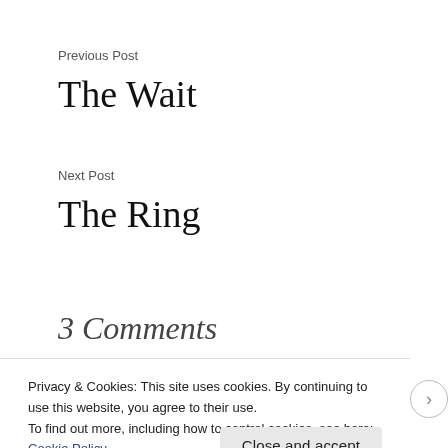Previous Post
The Wait
Next Post
The Ring
3 Comments
Privacy & Cookies: This site uses cookies. By continuing to use this website, you agree to their use.
To find out more, including how to control cookies, see here: Cookie Policy
Close and accept